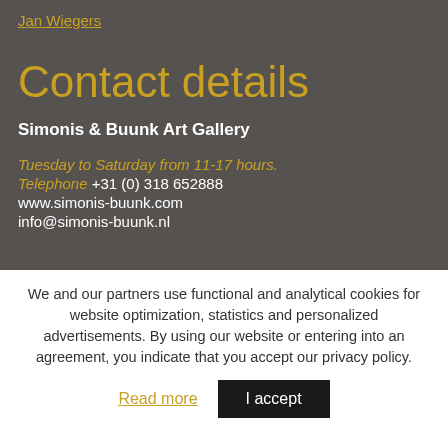Jan Wiegers
Contact details
Simonis & Buunk Art Gallery
Tuesday to Saturday from 11-17 hours.
Telephone +31 (0) 318 652888
www.simonis-buunk.com
info@simonis-buunk.nl
We and our partners use functional and analytical cookies for website optimization, statistics and personalized advertisements. By using our website or entering into an agreement, you indicate that you accept our privacy policy.
Read more | I accept